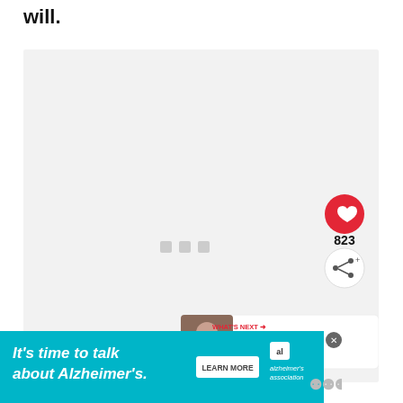will.
[Figure (photo): Large light-gray empty image placeholder with three small gray squares in the center (loading indicator), overlaid with social media UI: a red heart button showing 823 likes, a share button, and a 'What's Next' card showing '40 Signs He Doesn't Lov...' with a person thumbnail.]
WHAT'S NEXT → 40 Signs He Doesn't Lov...
[Figure (infographic): Advertisement banner: teal background with italic bold white text 'It's time to talk about Alzheimer's.' with a LEARN MORE button and Alzheimer's Association logo. A close X button and a muted logo appear on the right.]